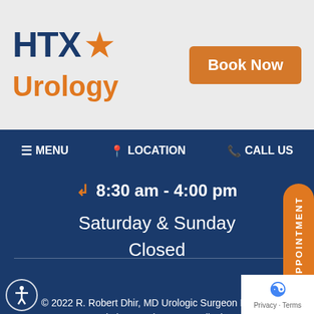[Figure (logo): HTX Urology logo with star icon in navy blue and orange]
Book Now
≡ MENU  📍 LOCATION  📞 CALL US
8:30 am - 4:00 pm
Saturday & Sunday
Closed
Home | Disclaimer | Feedback | Tell a Friend | Sitemap
Contact Us | HIPAA Privacy Policy | Privacy Policy
Terms of Use
© 2022 R. Robert Dhir, MD Urologic Surgeon Houston
Website SEO by NKP Medical